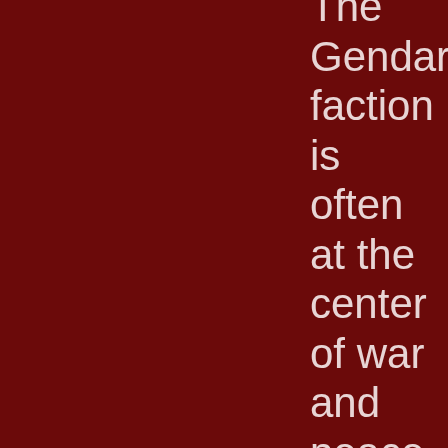The Gendarmerie faction is often at the center of war and peace-time politics, as are characters from